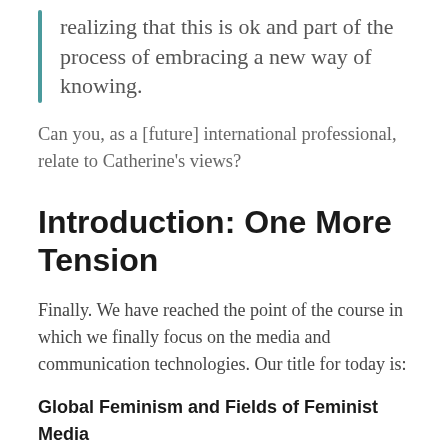realizing that this is ok and part of the process of embracing a new way of knowing.
Can you, as a [future] international professional, relate to Catherine's views?
Introduction: One More Tension
Finally. We have reached the point of the course in which we finally focus on the media and communication technologies. Our title for today is:
Global Feminism and Fields of Feminist Media